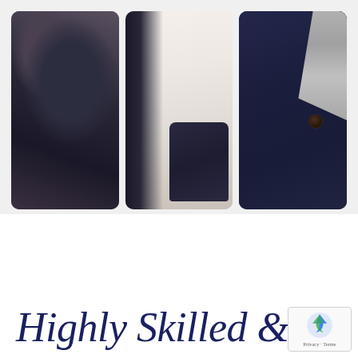[Figure (photo): Three vertically arranged photo panels side by side. Left panel: close-up of dark navy/charcoal fabric showing a bent arm/elbow. Middle panel: blurred light background with a dark jacket sleeve/cuff visible at bottom right. Right panel: navy blue blazer lapel with a button visible and a grey tie, showing close-up chest area.]
Highly Skilled &